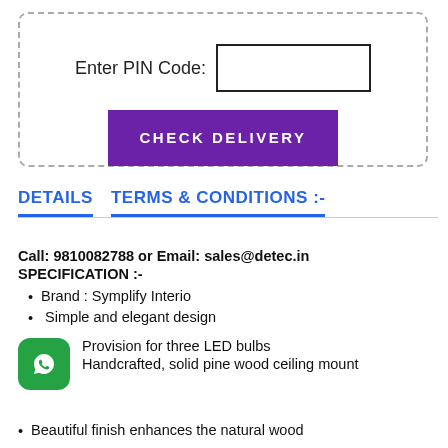Enter PIN Code:
CHECK DELIVERY
DETAILS
TERMS & CONDITIONS :-
Call: 9810082788 or Email: sales@detec.in
SPECIFICATION :-
Brand : Symplify Interio
Simple and elegant design
Provision for three LED bulbs
Handcrafted, solid pine wood ceiling mount
Beautiful finish enhances the natural wood